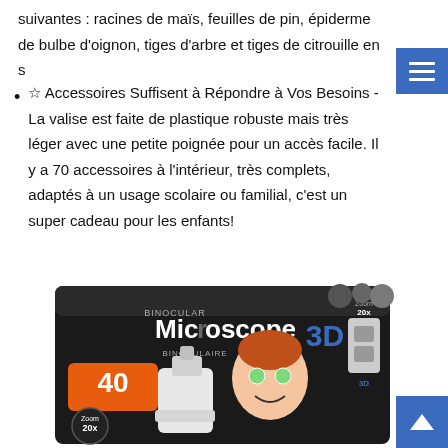suivantes : racines de maïs, feuilles de pin, épiderme de bulbe d'oignon, tiges d'arbre et tiges de citrouille en s
☆ Accessoires Suffisent à Répondre à Vos Besoins - La valise est faite de plastique robuste mais très léger avec une petite poignée pour un accès facile. Il y a 70 accessoires à l'intérieur, très complets, adaptés à un usage scolaire ou familial, c'est un super cadeau pour les enfants!
[Figure (photo): Product box for a 3D binocular microscope. Black box with cartoon girl scientist, text reads 'Binocular Microscope 3D', '40', 'Zoom 20x 3D'. Shows the white microscope and binocular viewer accessories.]